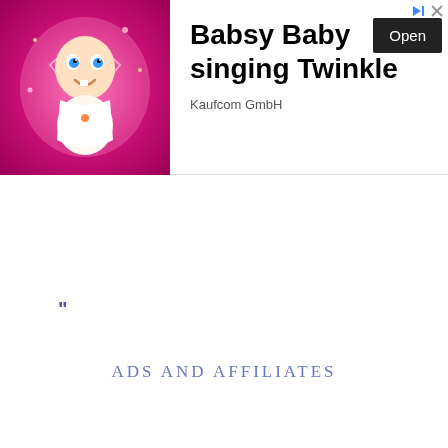[Figure (illustration): Top advertisement banner for 'Babsy Baby singing Twinkle' by Kaufcom GmbH, showing a cartoon baby on pink background with an Open button]
[Figure (illustration): The Avery Coonley School banner ad presenting 'Private Schools around Chicagoland']
"
ADS AND AFFILIATES